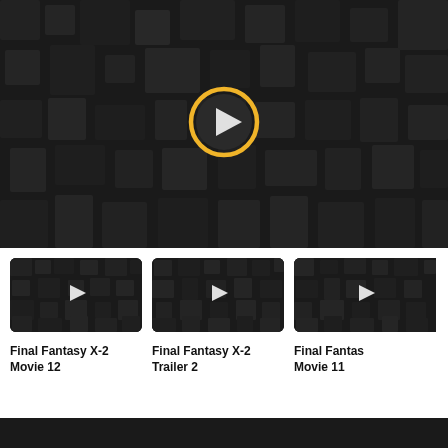[Figure (screenshot): Hero video player area with dark mosaic/tile background and a circular play button with gold/yellow ring outline and white triangle. Dark background with subtle darker square tile pattern.]
[Figure (screenshot): Thumbnail for 'Final Fantasy X-2 Movie 12' — dark mosaic background with white play triangle.]
Final Fantasy X-2
Movie 12
[Figure (screenshot): Thumbnail for 'Final Fantasy X-2 Trailer 2' — dark mosaic background with white play triangle.]
Final Fantasy X-2
Trailer 2
[Figure (screenshot): Thumbnail for 'Final Fantasy X-2 Movie 11' (partially visible) — dark mosaic background with white play triangle.]
Final Fantasy X-2
Movie 11